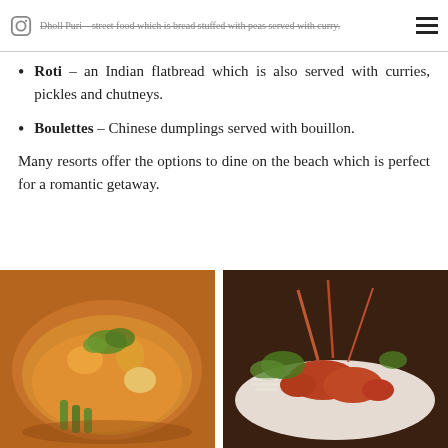Dholl Puri – street food which is bread stuffed with peas served with curry.
Roti – an Indian flatbread which is also served with curries, pickles and chutneys.
Boulettes – Chinese dumplings served with bouillon.
Many resorts offer the options to dine on the beach which is perfect for a romantic getaway.
[Figure (photo): A bowl of curry dish with vegetables including okra, potatoes, and herbs in a orange/red sauce.]
[Figure (photo): A plate of cooked whole lobsters/prawns garnished with green herbs on a white plate.]